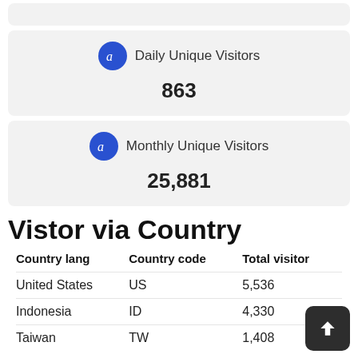[Figure (infographic): Card showing Daily Unique Visitors stat with Alexa icon and value 863]
[Figure (infographic): Card showing Monthly Unique Visitors stat with Alexa icon and value 25,881]
Vistor via Country
| Country lang | Country code | Total visitor |
| --- | --- | --- |
| United States | US | 5,536 |
| Indonesia | ID | 4,330 |
| Taiwan | TW | 1,408 |